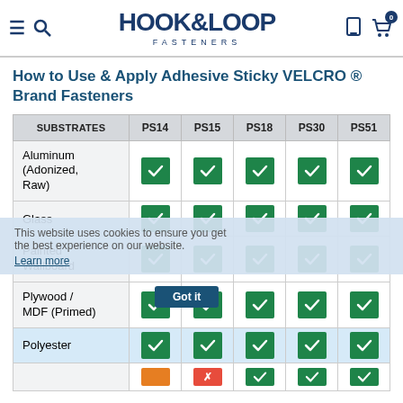HOOK&LOOP FASTENERS — site header with navigation icons
How to Use & Apply Adhesive Sticky VELCRO ® Brand Fasteners
| SUBSTRATES | PS14 | PS15 | PS18 | PS30 | PS51 |
| --- | --- | --- | --- | --- | --- |
| Aluminum (Adonized, Raw) | ✓ | ✓ | ✓ | ✓ | ✓ |
| Glass | ✓ | ✓ | ✓ | ✓ | ✓ |
| Painted Wallboard | ✓ | ✓ | ✓ | ✓ | ✓ |
| Plywood / MDF (Primed) | ✓ | ✓ | ✓ | ✓ | ✓ |
| Polyester | ✓ | ✓ | ✓ | ✓ | ✓ |
| (partial row) | ◑ | ✗ | ✓ | ✓ | ✓ |
This website uses cookies to ensure you get the best experience on our website.
Learn more
Got it